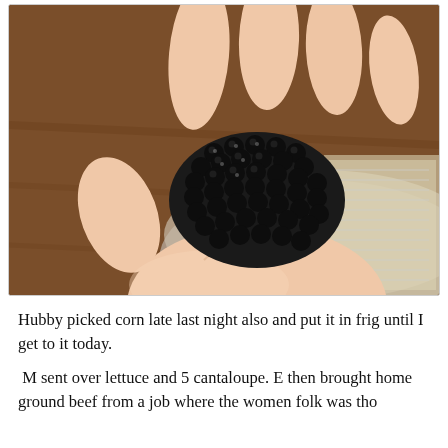[Figure (photo): A hand holding a dark blackberry-like fruit (or dark corn) against a background showing a metal bowl and a textured rug/mat on a wooden surface.]
Hubby picked corn late last night also and put it in frig until I get to it today.
M sent over lettuce and 5 cantaloupe. E then brought home ground beef from a job where the women folk was tho